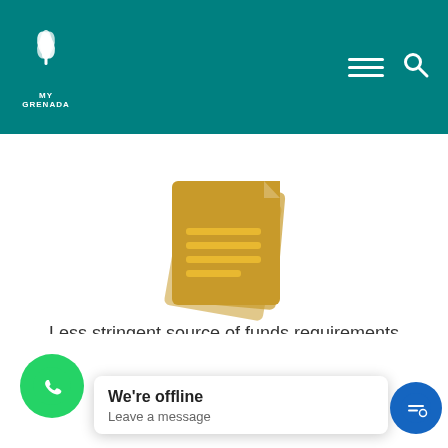My Grenada
[Figure (illustration): Gold icon of stacked document pages with lines representing text]
Less stringent source of funds requirements than that of the EB-5 Programme.
[Figure (illustration): Gold icon of people sitting around a meeting table]
Need Help? Ability to... commer...
We're offline
Leave a message